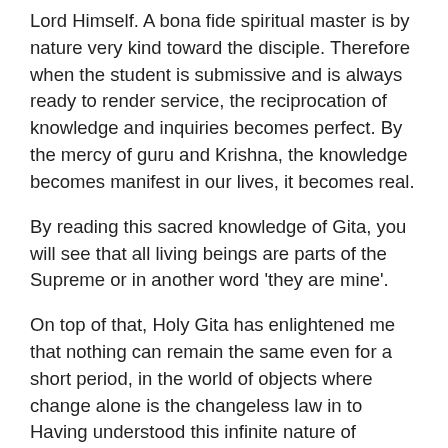Lord Himself. A bona fide spiritual master is by nature very kind toward the disciple. Therefore when the student is submissive and is always ready to render service, the reciprocation of knowledge and inquiries becomes perfect. By the mercy of guru and Krishna, the knowledge becomes manifest in our lives, it becomes real.
By reading this sacred knowledge of Gita, you will see that all living beings are parts of the Supreme or in another word 'they are mine'.
On top of that, Holy Gita has enlightened me that nothing can remain the same even for a short period, in the world of objects where change alone is the changeless law in to Having understood this infinite nature of changeable objects of the world, wherein every one of them has a beginning and an end, on no occasion need a wise man despair the least things THAT ARE, or of things THAT ARE NOT. Heat and cold, success or failure, pain and joy-